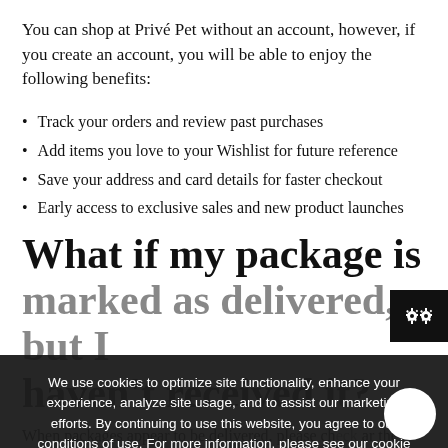You can shop at Privé Pet without an account, however, if you create an account, you will be able to enjoy the following benefits:
Track your orders and review past purchases
Add items you love to your Wishlist for future reference
Save your address and card details for faster checkout
Early access to exclusive sales and new product launches
What if my package is marked as delivered, but I haven't received it?
When packages appear to be delivered, please check the following scenarios before contacting us to resolve the issue. Was the package accidentally delivered
We use cookies to optimize site functionality, enhance your experience, analyze site usage, and to assist our marketing efforts. By continuing to use this website, you agree to our conditions of use. For more information, please see our cookie policy
ACCEPT ✓